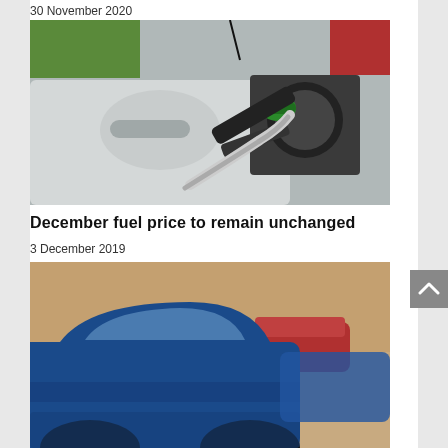30 November 2020
[Figure (photo): Close-up of a green fuel nozzle inserted into the fuel tank of a white car]
December fuel price to remain unchanged
3 December 2019
[Figure (photo): Blue cars parked in a row, blurred background with trees]